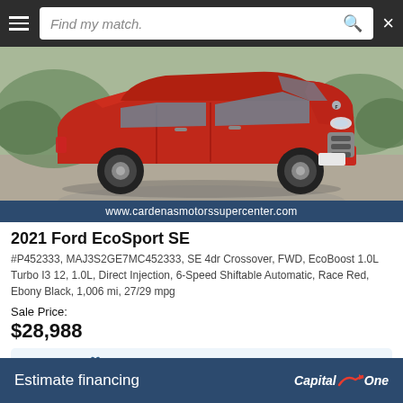Find my match.
[Figure (photo): A red 2021 Ford EcoSport SE crossover SUV photographed from the front-left angle on a paved surface with greenery in the background. The dealership website www.cardenasmotorssupercenter.com is shown in a dark blue banner at the bottom of the image.]
2021 Ford EcoSport SE
#P452333, MAJ3S2GE7MC452333, SE 4dr Crossover, FWD, EcoBoost 1.0L Turbo I3 12, 1.0L, Direct Injection, 6-Speed Shiftable Automatic, Race Red, Ebony Black, 1,006 mi, 27/29 mpg
Sale Price:
$28,988
All with no impact to your credit score
Estimate financing